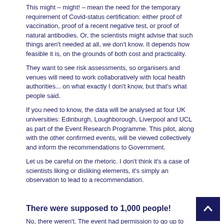This might – might! – mean the need for the temporary requirement of Covid-status certification: either proof of vaccination, proof of a recent negative test, or proof of natural antibodies. Or, the scientists might advise that such things aren't needed at all, we don't know. It depends how feasible it is, on the grounds of both cost and practicality.
They want to see risk assessments, so organisers and venues will need to work collaboratively with local health authorities... on what exactly I don't know, but that's what people said.
If you need to know, the data will be analysed at four UK universities: Edinburgh, Loughborough, Liverpool and UCL as part of the Event Research Programme. This pilot, along with the other confirmed events, will be viewed collectively and inform the recommendations to Government.
Let us be careful on the rhetoric. I don't think it's a case of scientists liking or disliking elements, it's simply an observation to lead to a recommendation.
There were supposed to 1,000 people!
No, there weren't. The event had permission to go up to 1,000 people, but there were about 400 or so in attendance on the day. Once you realise that this was a behavioral study you realise it doesn't matter. Four hundred people is still a good sample size for the purposes of this test.